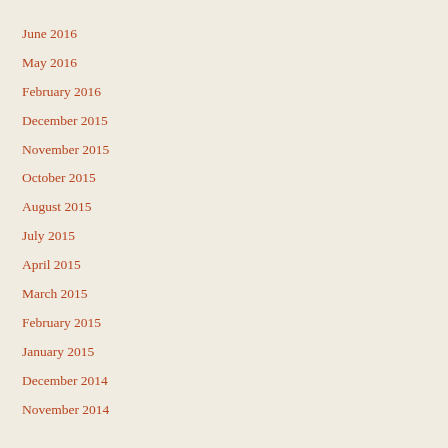June 2016
May 2016
February 2016
December 2015
November 2015
October 2015
August 2015
July 2015
April 2015
March 2015
February 2015
January 2015
December 2014
November 2014